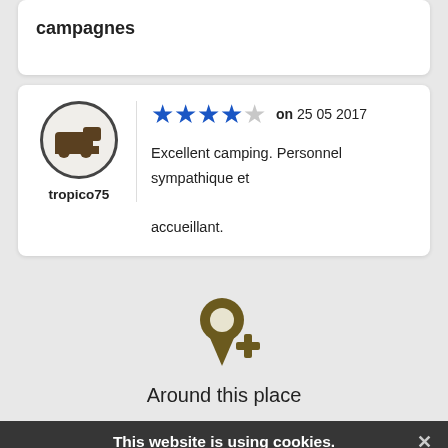campagnes
tropico75 — ★★★★☆ on 25 05 2017 — Excellent camping. Personnel sympathique et accueillant.
[Figure (illustration): Location pin with plus sign icon — Around this place]
Around this place
This website is using cookies. We use them to give you the best experience. If you continue using our website, we'll assume that you are happy to receive all cookies on this website. Continue  Learn more
(68500) Gue... 1 Rue de l'Electricité — Parking near McDonald's, fairly quiet area, free wifi at